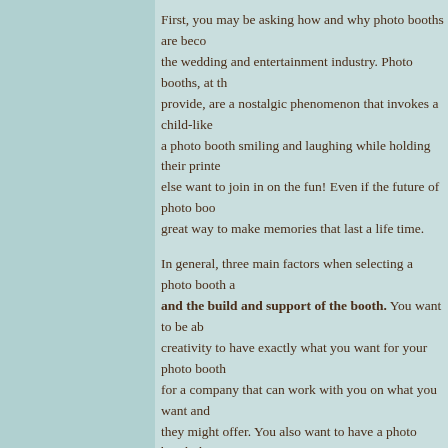First, you may be asking how and why photo booths are becoming popular in the wedding and entertainment industry. Photo booths, at the experience they provide, are a nostalgic phenomenon that invokes a child-like joy. Anyone in a photo booth smiling and laughing while holding their printed photos makes everyone else want to join in on the fun! Even if the future of photo booths is uncertain, it's a great way to make memories that last a life time.
In general, three main factors when selecting a photo booth are the quality, price, and the build and support of the booth. You want to be able to use your own creativity to have exactly what you want for your photo booth experience. Look for a company that can work with you on what you want and the package options they might offer. You also want to have a photo booth that is easy and doesn't take time to load in or set up. Delivery, load-in, set-up, and break down are key factors. Finally, you want a set-up that is sleek yet sturdy should your attendant need to leave the photo booth is in service. If anyone else who hasn't been trained on the photo booth has to do so, you want to have a seamless setup so as to not have the booth collapse, or be rendered useless because no one knew how to operate it.
Other factors that you may want to look into are style of photo booth, rental price and extra add-on features, styles of cameras and printers, etc. There are two types of photo booths—enclosed and open air. Enclosed is the more traditional style that you would see in movie theaters and malls. An open air booth is a...